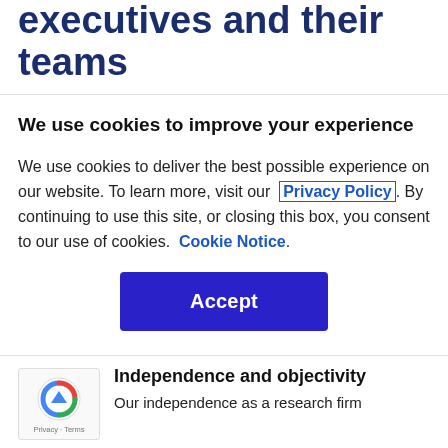executives and their teams
We use cookies to improve your experience
We use cookies to deliver the best possible experience on our website. To learn more, visit our Privacy Policy. By continuing to use this site, or closing this box, you consent to our use of cookies. Cookie Notice.
Independence and objectivity
Our independence as a research firm